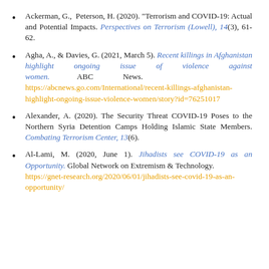Ackerman, G., & Peterson, H. (2020). "Terrorism and COVID-19: Actual and Potential Impacts. Perspectives on Terrorism (Lowell), 14(3), 61-62.
Agha, A., & Davies, G. (2021, March 5). Recent killings in Afghanistan highlight ongoing issue of violence against women. ABC News. https://abcnews.go.com/International/recent-killings-afghanistan-highlight-ongoing-issue-violence-women/story?id=76251017
Alexander, A. (2020). The Security Threat COVID-19 Poses to the Northern Syria Detention Camps Holding Islamic State Members. Combating Terrorism Center, 13(6).
Al-Lami, M. (2020, June 1). Jihadists see COVID-19 as an Opportunity. Global Network on Extremism & Technology. https://gnet-research.org/2020/06/01/jihadists-see-covid-19-as-an-opportunity/